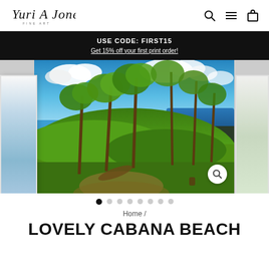[Figure (logo): Yuri A Jones Fine Art handwritten script logo]
USE CODE: FIRST15
Get 15% off your first print order!
[Figure (photo): Tropical beach scene with palm trees, lush green grass, dark sand beach, blue ocean, and blue sky with white clouds. Left and right side panels show partial views of framed prints.]
Home /
LOVELY CABANA BEACH